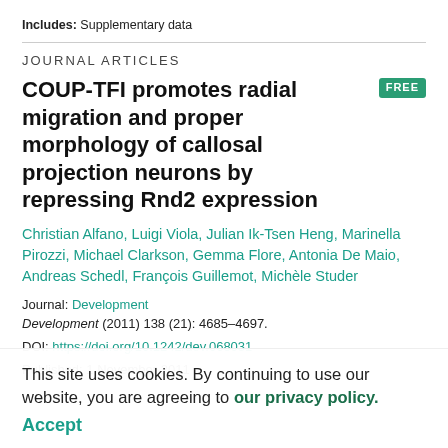Includes: Supplementary data
JOURNAL ARTICLES
COUP-TFI promotes radial migration and proper morphology of callosal projection neurons by repressing Rnd2 expression
Christian Alfano, Luigi Viola, Julian Ik-Tsen Heng, Marinella Pirozzi, Michael Clarkson, Gemma Flore, Antonia De Maio, Andreas Schedl, François Guillemot, Michèle Studer
Journal: Development
Development (2011) 138 (21): 4685–4697.
DOI: https://doi.org/10.1242/dev.068031
Published: 1 November 2011
This site uses cookies. By continuing to use our website, you are agreeing to our privacy policy. Accept